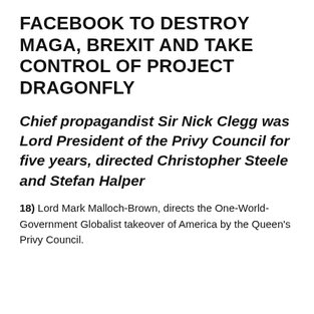FACEBOOK TO DESTROY MAGA, BREXIT AND TAKE CONTROL OF PROJECT DRAGONFLY
Chief propagandist Sir Nick Clegg was Lord President of the Privy Council for five years, directed Christopher Steele and Stefan Halper
18) Lord Mark Malloch-Brown, directs the One-World-Government Globalist takeover of America by the Queen's Privy Council.